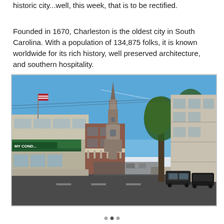historic city...well, this week, that is to be rectified.
Founded in 1670, Charleston is the oldest city in South Carolina. With a population of 134,875 folks, it is known worldwide for its rich history, well preserved architecture, and southern hospitality.
[Figure (photo): Street-level photograph of a historic Charleston, SC street scene showing storefronts including 'MY CONDO' on the left, a church steeple visible in the background center, large trees on the right side, and parked cars along the right. Blue sky with slight haze.]